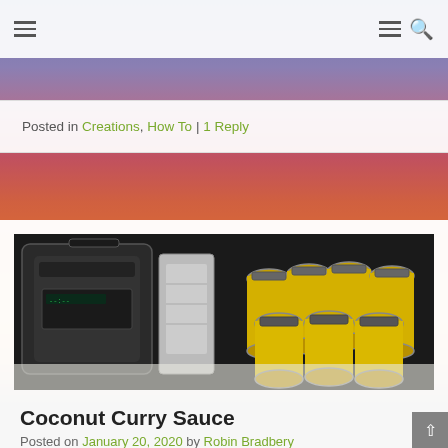Navigation bar with hamburger menu icons and search icon
Posted in Creations, How To | 1 Reply
[Figure (photo): Photo of a pressure cooker and multiple glass jars filled with yellow coconut curry sauce on a white surface]
Coconut Curry Sauce
Posted on January 20, 2020 by Robin Bradbery
I just finished “canning” nine quarts (2.25 gallons) of coconut curry sauce. The pressure cooker makes everything so much easier. Coconut milk Turmeric Ginger Brown sugar Curry powder Peanut powder